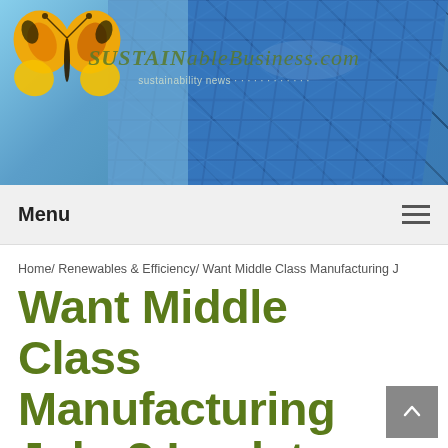[Figure (photo): Website header banner with solar panels background, a butterfly on the left, and 'SustainableBusiness.com' site title overlay with tagline 'sustainability news...']
Menu
Home/ Renewables & Efficiency/ Want Middle Class Manufacturing J
Want Middle Class Manufacturing Jobs? Look to Wind & Solar